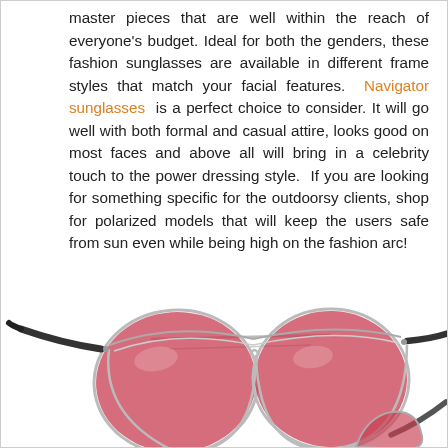master pieces that are well within the reach of everyone's budget. Ideal for both the genders, these fashion sunglasses are available in different frame styles that match your facial features. Navigator sunglasses is a perfect choice to consider. It will go well with both formal and casual attire, looks good on most faces and above all will bring in a celebrity touch to the power dressing style. If you are looking for something specific for the outdoorsy clients, shop for polarized models that will keep the users safe from sun even while being high on the fashion arc!
[Figure (photo): A pair of aviator/navigator sunglasses with pink/red lenses and silver metal frame, shown at the bottom of the page. A second pair is partially visible at the bottom right.]